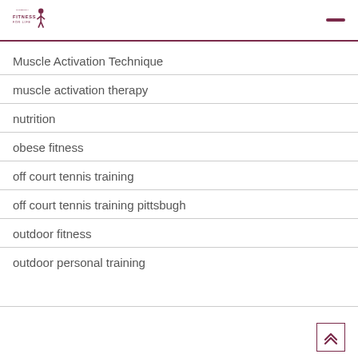FITNESS FOR LIFE
Muscle Activation Technique
muscle activation therapy
nutrition
obese fitness
off court tennis training
off court tennis training pittsbugh
outdoor fitness
outdoor personal training